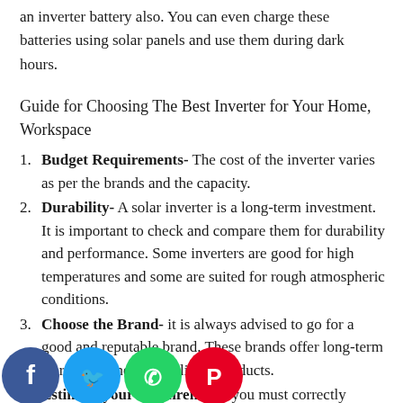an inverter battery also. You can even charge these batteries using solar panels and use them during dark hours.
Guide for Choosing The Best Inverter for Your Home, Workspace
Budget Requirements- The cost of the inverter varies as per the brands and the capacity.
Durability- A solar inverter is a long-term investment. It is important to check and compare them for durability and performance. Some inverters are good for high temperatures and some are suited for rough atmospheric conditions.
Choose the Brand- it is always advised to go for a good and reputable brand. These brands offer long-term warranties and offer reliable products.
Estimate your Requirement- you must correctly estimate your requirement before you buy a solar inverter. It is also advisable to go for an inverter of higher capacity than